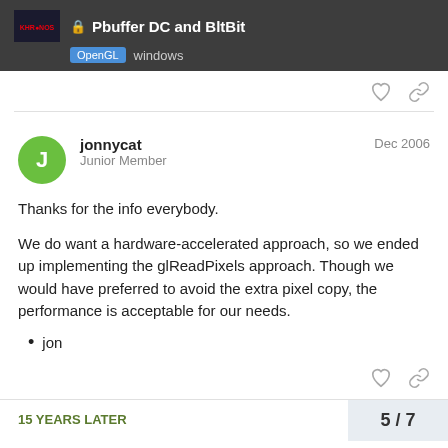Pbuffer DC and BltBit — OpenGL windows
jonnycat
Junior Member
Dec 2006
Thanks for the info everybody.
We do want a hardware-accelerated approach, so we ended up implementing the glReadPixels approach. Though we would have preferred to avoid the extra pixel copy, the performance is acceptable for our needs.
jon
15 YEARS LATER
5 / 7